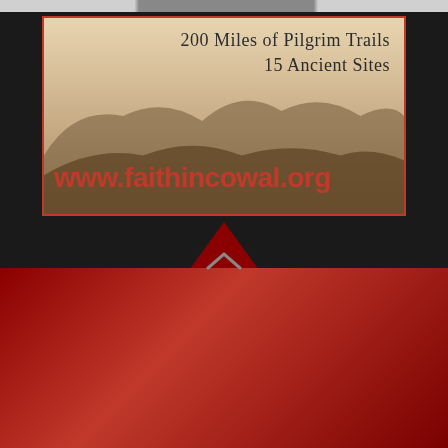[Figure (infographic): Advertisement banner for faithincowal.org showing '200 Miles of Pilgrim Trails, 15 Ancient Sites' with a landscape background image and red border]
©2020 Dunoon Community Radio 97.4 FM
[Figure (screenshot): DCR 97.4fm radio player widget showing logo, station name 'DCR 97.4fm', LIVE label, play button, and volume control against a dark landscape background]